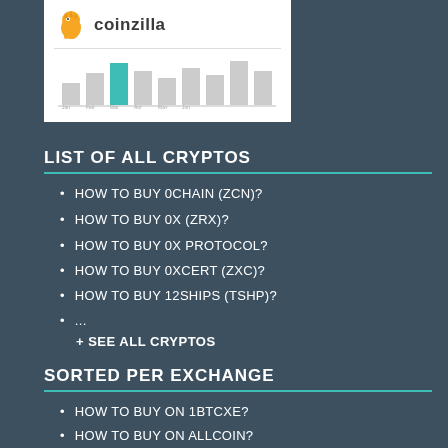[Figure (logo): Coinzilla advertisement banner with orange dinosaur mascot and bar chart graphic]
LIST OF ALL CRYPTOS
HOW TO BUY 0CHAIN (ZCN)?
HOW TO BUY 0X (ZRX)?
HOW TO BUY 0X PROTOCOL?
HOW TO BUY 0XCERT (ZXC)?
HOW TO BUY 12SHIPS (TSHP)?
...
+ SEE ALL CRYPTOS
SORTED PER EXCHANGE
HOW TO BUY ON 1BTCXE?
HOW TO BUY ON ALLCOIN?